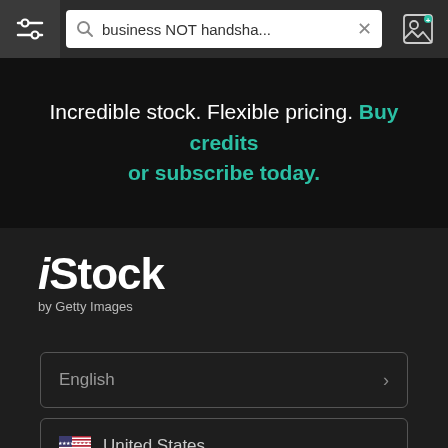[Figure (screenshot): Browser top bar with filter/sliders icon on the left, search bar showing 'business NOT handsha...' with an X close button, and an image search icon on the right]
Incredible stock. Flexible pricing. Buy credits or subscribe today.
[Figure (logo): iStock by Getty Images logo in white on dark background]
English
United States